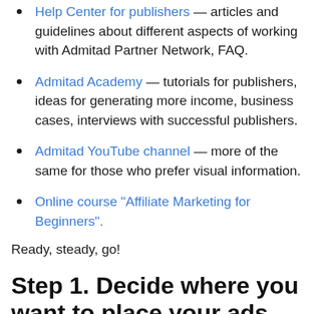Help Center for publishers — articles and guidelines about different aspects of working with Admitad Partner Network, FAQ.
Admitad Academy — tutorials for publishers, ideas for generating more income, business cases, interviews with successful publishers.
Admitad YouTube channel — more of the same for those who prefer visual information.
Online course "Affiliate Marketing for Beginners".
Ready, steady, go!
Step 1. Decide where you want to place your ads